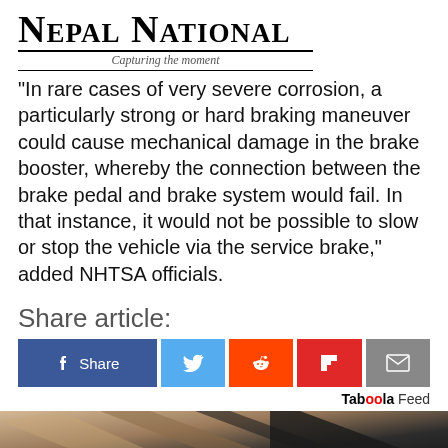Nepal National — Capturing the moment
"In rare cases of very severe corrosion, a particularly strong or hard braking maneuver could cause mechanical damage in the brake booster, whereby the connection between the brake pedal and brake system would fail. In that instance, it would not be possible to slow or stop the vehicle via the service brake," added NHTSA officials.
Share article:
[Figure (infographic): Social share buttons: Facebook Share, Twitter, Reddit, Flipboard, Email]
Taboola Feed
[Figure (photo): Bottom portion of a car, dark metallic surface visible]